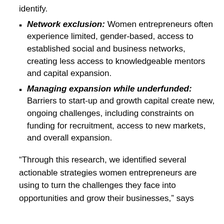identify.
Network exclusion: Women entrepreneurs often experience limited, gender-based, access to established social and business networks, creating less access to knowledgeable mentors and capital expansion.
Managing expansion while underfunded: Barriers to start-up and growth capital create new, ongoing challenges, including constraints on funding for recruitment, access to new markets, and overall expansion.
“Through this research, we identified several actionable strategies women entrepreneurs are using to turn the challenges they face into opportunities and grow their businesses,” says